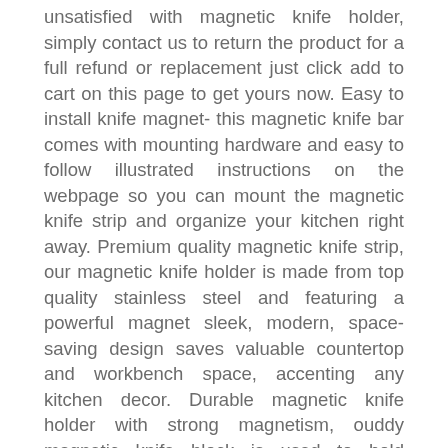unsatisfied with magnetic knife holder, simply contact us to return the product for a full refund or replacement just click add to cart on this page to get yours now. Easy to install knife magnet- this magnetic knife bar comes with mounting hardware and easy to follow illustrated instructions on the webpage so you can mount the magnetic knife strip and organize your kitchen right away. Premium quality magnetic knife strip, our magnetic knife holder is made from top quality stainless steel and featuring a powerful magnet sleek, modern, space-saving design saves valuable countertop and workbench space, accenting any kitchen decor. Durable magnetic knife holder with strong magnetism, ouddy magnetic knife block is used to hold securely your knifes and the powerful magnets will help keep children out of reach of sharp knives your knives will stay in place and not slide off this magnetic knife it will never rust and